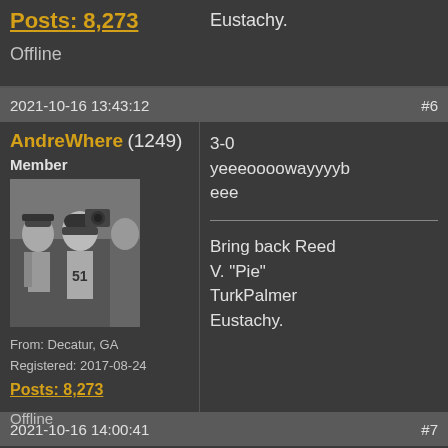Posts: 8,273
Offline
Eustachy.
2021-10-16 13:43:12  #6
AndreWhere (1249)
Member
[Figure (photo): Black and white photo of football coach and player #51]
From: Decatur, GA
Registered: 2017-08-24
Posts: 8,273
Offline
3-0
yeeeoooowayyyybeee
Bring back Reed V. "Pie" TurkPalmer Eustachy.
2021-10-16 14:00:41  #7